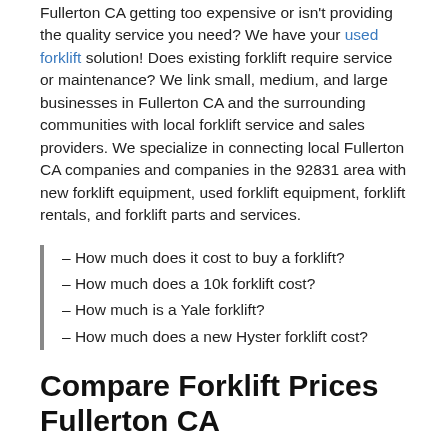Fullerton CA getting too expensive or isn't providing the quality service you need? We have your used forklift solution! Does existing forklift require service or maintenance? We link small, medium, and large businesses in Fullerton CA and the surrounding communities with local forklift service and sales providers. We specialize in connecting local Fullerton CA companies and companies in the 92831 area with new forklift equipment, used forklift equipment, forklift rentals, and forklift parts and services.
– How much does it cost to buy a forklift?
– How much does a 10k forklift cost?
– How much is a Yale forklift?
– How much does a new Hyster forklift cost?
Compare Forklift Prices Fullerton CA